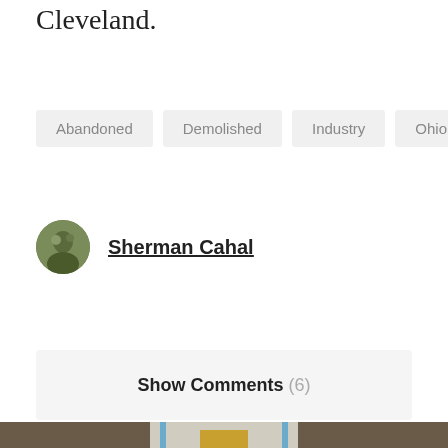Cleveland.
Abandoned
Demolished
Industry
Ohio
Sherman Cahal
Show Comments (6)
[Figure (photo): Exterior of an abandoned white house with blue trim windows in winter, bare trees visible, snow on roof, yellow door visible in center]